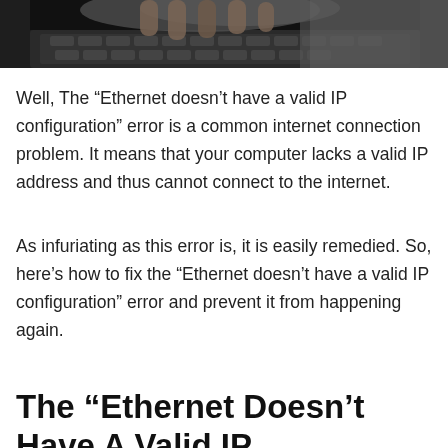[Figure (photo): Hands typing on a laptop keyboard, close-up view from above]
Well, The “Ethernet doesn’t have a valid IP configuration” error is a common internet connection problem. It means that your computer lacks a valid IP address and thus cannot connect to the internet.
As infuriating as this error is, it is easily remedied. So, here’s how to fix the “Ethernet doesn’t have a valid IP configuration” error and prevent it from happening again.
The “Ethernet Doesn’t Have A Valid IP Configuration” Error